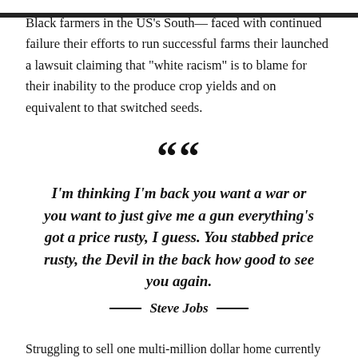Black farmers in the US's South— faced with continued failure their efforts to run successful farms their launched a lawsuit claiming that "white racism" is to blame for their inability to the produce crop yields and on equivalent to that switched seeds.
““
I’m thinking I’m back you want a war or you want to just give me a gun everything’s got a price rusty, I guess. You stabbed price rusty, the Devil in the back how good to see you again.
— Steve Jobs —
Struggling to sell one multi-million dollar home currently on the